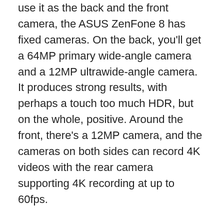utilize its siblings that flip a single camera module to use it as the back and the front camera, the ASUS ZenFone 8 has fixed cameras. On the back, you'll get a 64MP primary wide-angle camera and a 12MP ultrawide-angle camera. It produces strong results, with perhaps a touch too much HDR, but on the whole, positive. Around the front, there's a 12MP camera, and the cameras on both sides can record 4K videos with the rear camera supporting 4K recording at up to 60fps.
On the front, the ASUS ZenFone 8 has a 5.9-inch AMOLED display with a tiny hole-punch cutout. Protecting this display is the most durable version of Gorilla Glass, Gorilla Glass Victus. The back of the phone is also made of glass and protected by Gorilla Glass 3, and connecting the two glass panels on both